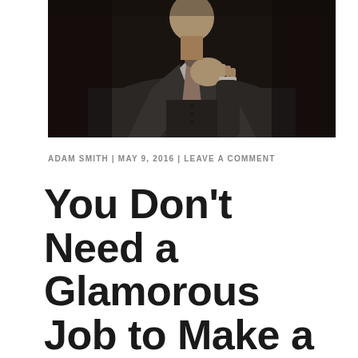[Figure (photo): Black and white close-up photo of a man in a suit adjusting his tie, shot from chest level up, dark moody background]
ADAM SMITH | MAY 9, 2016 | LEAVE A COMMENT
You Don't Need a Glamorous Job to Make a Difference